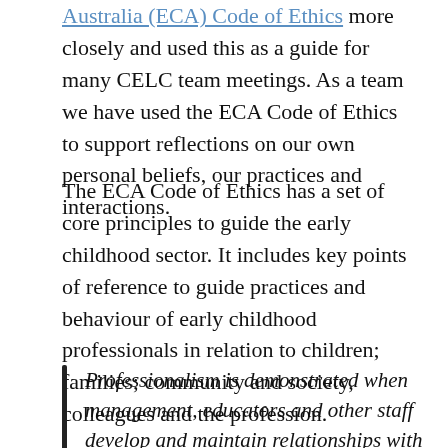Australia (ECA) Code of Ethics more closely and used this as a guide for many CELC team meetings. As a team we have used the ECA Code of Ethics to support reflections on our own personal beliefs, our practices and interactions.
The ECA Code of Ethics has a set of core principles to guide the early childhood sector. It includes key points of reference to guide practices and behaviour of early childhood professionals in relation to children; families; community and society, colleagues and the profession.
Professionalism is demonstrated when management, educators and other staff develop and maintain relationships with each other….. Team collaboration that is based on understanding the expectations and attitudes of team members and build on the strength